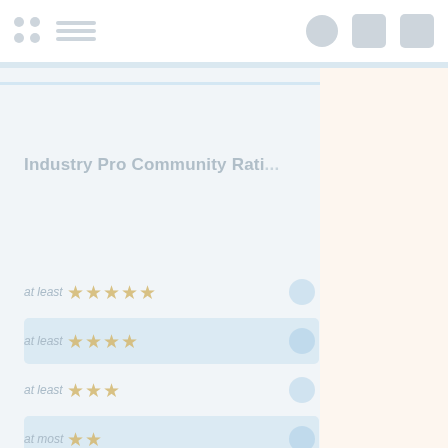Navigation bar with grid icon, menu lines, user icon, calendar icon, and settings icon
Industry Pro  Community Rati...
at least ★★★★★
at least ★★★★
at least ★★★
at least ★★
at least ★
at least (empty)